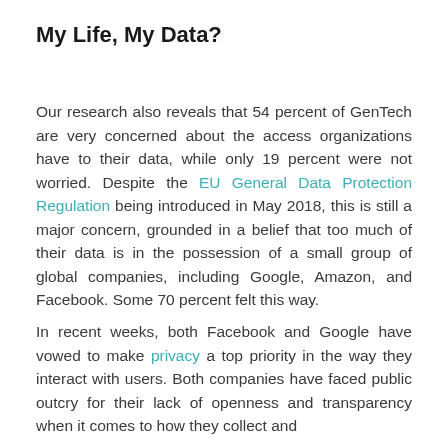My Life, My Data?
Our research also reveals that 54 percent of GenTech are very concerned about the access organizations have to their data, while only 19 percent were not worried. Despite the EU General Data Protection Regulation being introduced in May 2018, this is still a major concern, grounded in a belief that too much of their data is in the possession of a small group of global companies, including Google, Amazon, and Facebook. Some 70 percent felt this way.
In recent weeks, both Facebook and Google have vowed to make privacy a top priority in the way they interact with users. Both companies have faced public outcry for their lack of openness and transparency when it comes to how they collect and